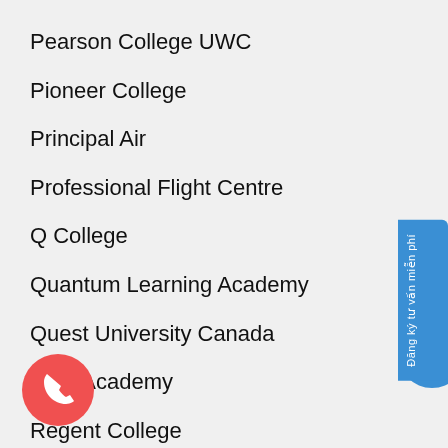Pearson College UWC
Pioneer College
Principal Air
Professional Flight Centre
Q College
Quantum Learning Academy
Quest University Canada
RED Academy
Regent College
Rhodes Wellness College
Ridge Meadows College